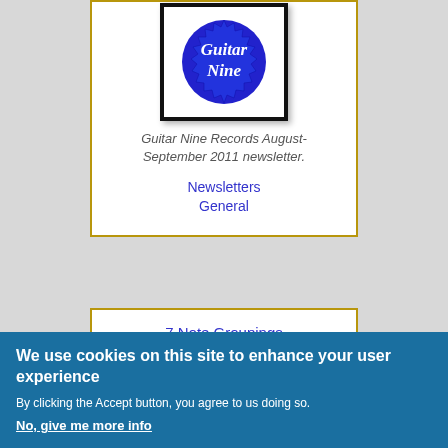[Figure (logo): Guitar Nine Records logo — blue circular seal with white script text reading 'Guitar Nine', inside a black-bordered rectangular frame]
Guitar Nine Records August-September 2011 newsletter.
Newsletters
General
7 Note Groupings
Mike Campese
[Figure (photo): Dark album cover image with a person visible, text reading 'Mike Campese']
We use cookies on this site to enhance your user experience
By clicking the Accept button, you agree to us doing so.
No, give me more info